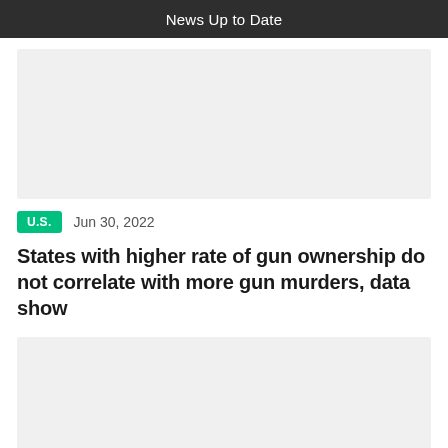News Up to Date
[Figure (other): Image placeholder (gray rectangle) for article image]
U.S.   Jun 30, 2022
States with higher rate of gun ownership do not correlate with more gun murders, data show
[Figure (other): Image placeholder (gray rectangle) for article content image]